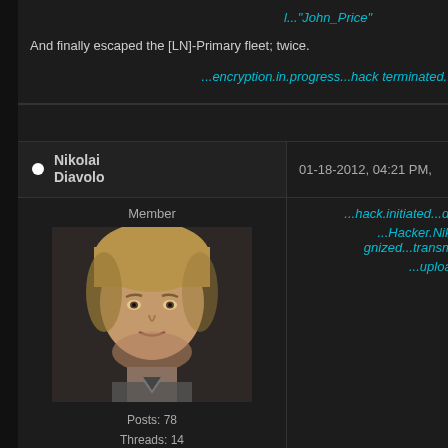l..."John_Price"
And finally escaped the [LN]-Primary fleet; twice.
...encryption.in.progress...hack terminated...
Reply
Nikolai Diavolo
01-18-2012, 04:21 PM,
#613
Member
[Figure (photo): Avatar photo of Nikolai Diavolo, a young man with light hair]
Posts: 78
Threads: 14
Joined: Oct 2011
...hack.initiated...decryption.in.progress...
...Hacker.Nikolai.Diavolo.recognized...transmission.encrypted...
...uploading.data...
Departme... of Securit.
by BHG Claim Service
2 hours ago
The Repub Of Liberty
by BHG Claim Service
2 hours ago
Modular bases registry
by Rheinland Government
2 hours ago
Victor Stei - Alice De.
by Overseer
3 hours ago
To: Kusari State Polic...